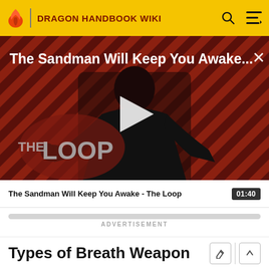DRAGON HANDBOOK WIKI
[Figure (screenshot): Video thumbnail for 'The Sandman Will Keep You Awake - The Loop' showing a dark-cloaked figure against a red and black diagonal striped background with THE LOOP logo overlay and a play button in the center]
The Sandman Will Keep You Awake - The Loop  01:40
ADVERTISEMENT
Types of Breath Weapon